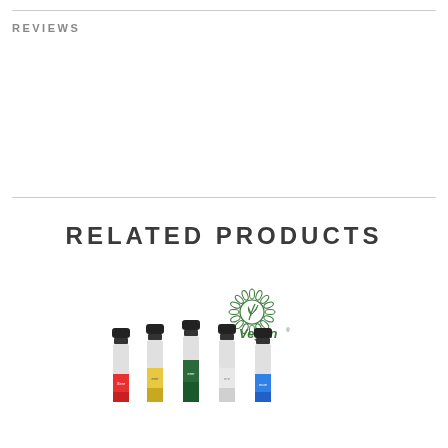REVIEWS
RELATED PRODUCTS
[Figure (photo): Group of colorful Vegan nail polish bottles with black caps and a Vegan certification logo (sunflower/daisy design) above them]